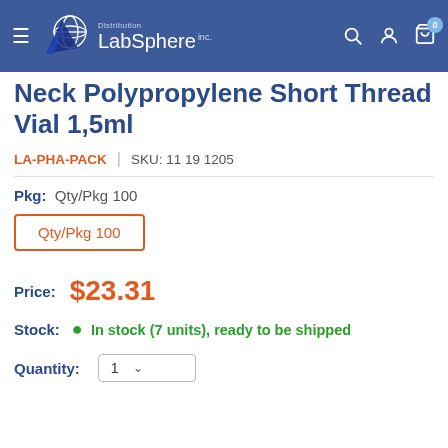[Figure (logo): Distribution LabSphere Inc. logo with globe and blue swoosh, white text on blue header background]
Neck Polypropylene Short Thread Vial 1,5ml
LA-PHA-PACK  |  SKU: 11 19 1205
Pkg:  Qty/Pkg 100
Qty/Pkg 100
Price:  $23.31
Stock:  • In stock (7 units), ready to be shipped
Quantity:  1